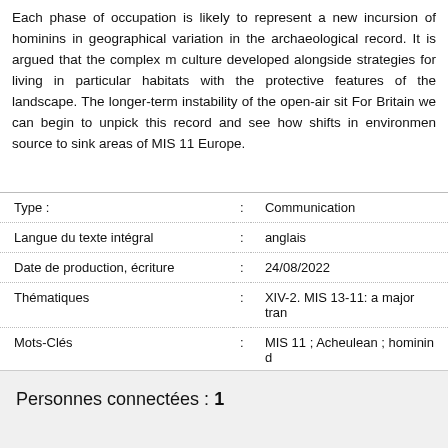Each phase of occupation is likely to represent a new incursion of hominins in geographical variation in the archaeological record. It is argued that the complex culture developed alongside strategies for living in particular habitats with the protective features of the landscape. The longer-term instability of the open-air sit For Britain we can begin to unpick this record and see how shifts in environmen source to sink areas of MIS 11 Europe.
| Type : | : | Communication |
| Langue du texte intégral | : | anglais |
| Date de production, écriture | : | 24/08/2022 |
| Thématiques | : | XIV-2. MIS 13-11: a major tran |
| Mots-Clés | : | MIS 11 ; Acheulean ; hominin d |
| PDF version | : | PDF version |
Personnes connectées : 1